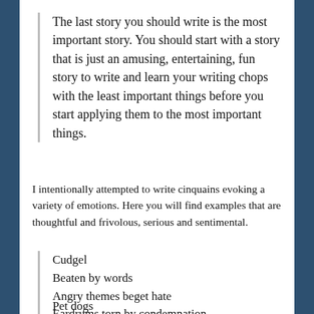…igh this/that is a skill: Writing chops…
The last story you should write is the most important story. You should start with a story that is just an amusing, entertaining, fun story to write and learn your writing chops with the least important things before you start applying them to the most important things.
I intentionally attempted to write cinquains evoking a variety of emotions. Here you will find examples that are thoughtful and frivolous, serious and sentimental.
Cudgel
Beaten by words
Angry themes beget hate
Eardrums torn by condemnation
Wounds last.
Pet dogs
Each breed a joy